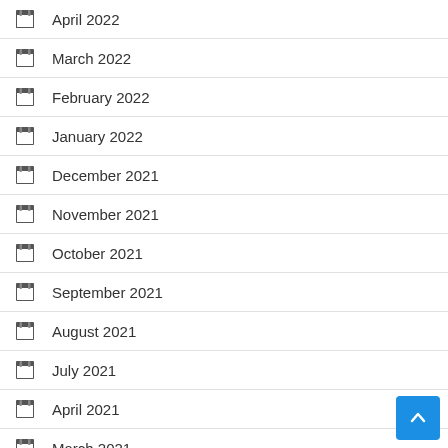April 2022
March 2022
February 2022
January 2022
December 2021
November 2021
October 2021
September 2021
August 2021
July 2021
April 2021
March 2021
July 2020